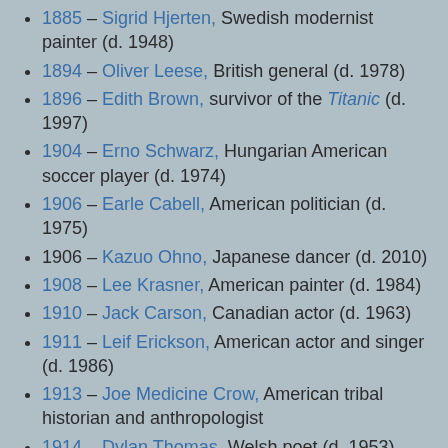1885 – Sigrid Hjerten, Swedish modernist painter (d. 1948)
1894 – Oliver Leese, British general (d. 1978)
1896 – Edith Brown, survivor of the Titanic (d. 1997)
1904 – Erno Schwarz, Hungarian American soccer player (d. 1974)
1906 – Earle Cabell, American politician (d. 1975)
1906 – Kazuo Ohno, Japanese dancer (d. 2010)
1908 – Lee Krasner, American painter (d. 1984)
1910 – Jack Carson, Canadian actor (d. 1963)
1911 – Leif Erickson, American actor and singer (d. 1986)
1913 – Joe Medicine Crow, American tribal historian and anthropologist
1914 – Dylan Thomas, Welsh poet (d. 1953)
1915 – Harry Saltzman, American film producer (d. 1994)
1917 – Augustine Harris, British Bishop of...